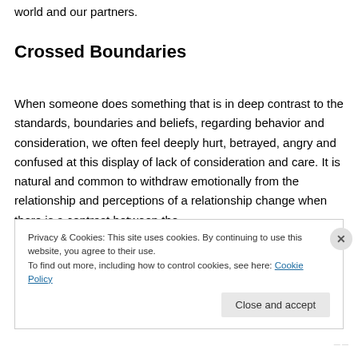world and our partners.
Crossed Boundaries
When someone does something that is in deep contrast to the standards, boundaries and beliefs, regarding behavior and consideration, we often feel deeply hurt, betrayed, angry and confused at this display of lack of consideration and care. It is natural and common to withdraw emotionally from the relationship and perceptions of a relationship change when there is a contrast between the
Privacy & Cookies: This site uses cookies. By continuing to use this website, you agree to their use.
To find out more, including how to control cookies, see here: Cookie Policy
Close and accept